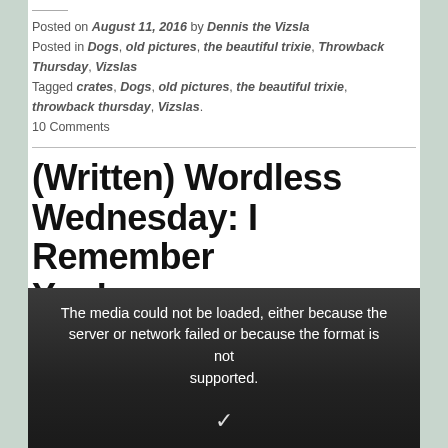Posted on August 11, 2016 by Dennis the Vizsla
Posted in Dogs, old pictures, the beautiful trixie, Throwback Thursday, Vizslas
Tagged crates, Dogs, old pictures, the beautiful trixie, throwback thursday, Vizslas.
10 Comments
(Written) Wordless Wednesday: I Remember You!
[Figure (photo): Embedded video player showing error message: The media could not be loaded, either because the server or network failed or because the format is not supported.]